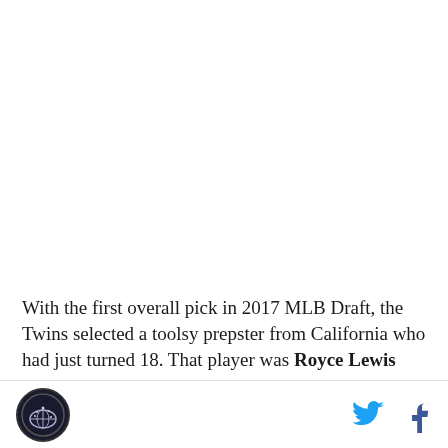[Figure (photo): Large image area at top of page, appears blank/white in this view]
With the first overall pick in 2017 MLB Draft, the Twins selected a toolsy prepster from California who had just turned 18. That player was Royce Lewis who is a
Logo icon | Twitter bird icon | Facebook f icon